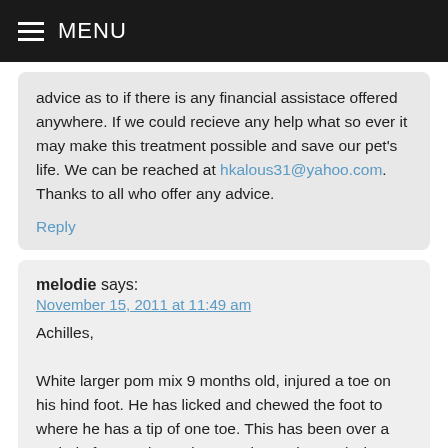MENU
advice as to if there is any financial assistace offered anywhere. If we could recieve any help what so ever it may make this treatment possible and save our pet's life. We can be reached at hkalous31@yahoo.com. Thanks to all who offer any advice.
Reply
melodie says:
November 15, 2011 at 11:49 am
Achilles,

White larger pom mix 9 months old, injured a toe on his hind foot. He has licked and chewed the foot to where he has a tip of one toe. This has been over a period of 4 months and many trips to the vet ( who gave little help or much concern to why he was